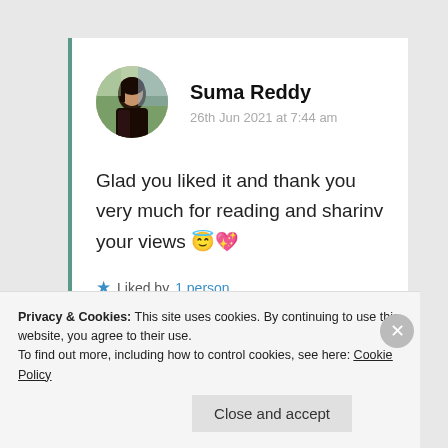[Figure (illustration): Circular avatar photo of Suma Reddy, a woman with dark hair]
Suma Reddy
26th Jun 2021 at 7:44 am
Glad you liked it and thank you very much for reading and sharinv your views 😇💖
★ Liked by 1 person
Privacy & Cookies: This site uses cookies. By continuing to use this website, you agree to their use.
To find out more, including how to control cookies, see here: Cookie Policy
Close and accept